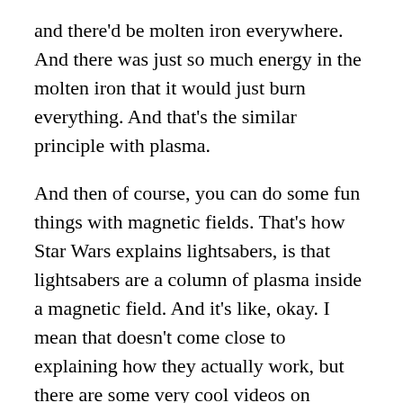and there'd be molten iron everywhere. And there was just so much energy in the molten iron that it would just burn everything. And that's the similar principle with plasma.
And then of course, you can do some fun things with magnetic fields. That's how Star Wars explains lightsabers, is that lightsabers are a column of plasma inside a magnetic field. And it's like, okay. I mean that doesn't come close to explaining how they actually work, but there are some very cool videos on YouTube of this maker's group that made a quote lightsaber unquote, which is basically a plasma welder with an extremely long arc. And yeah, it looks like a lightsaber and it burns through things pretty well. I mean, you can't sword fight with